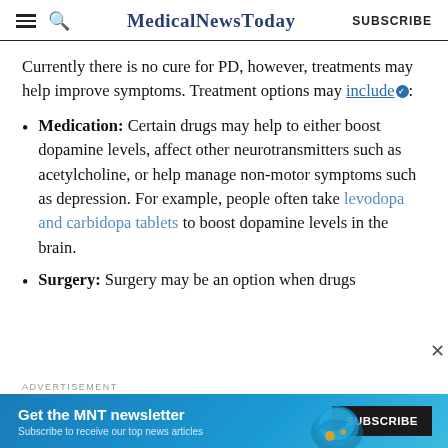MedicalNewsToday SUBSCRIBE
Currently there is no cure for PD, however, treatments may help improve symptoms. Treatment options may include:
Medication: Certain drugs may help to either boost dopamine levels, affect other neurotransmitters such as acetylcholine, or help manage non-motor symptoms such as depression. For example, people often take levodopa and carbidopa tablets to boost dopamine levels in the brain.
Surgery: Surgery may be an option when drugs
[Figure (other): Advertisement banner for MNT newsletter with SUBSCRIBE button]